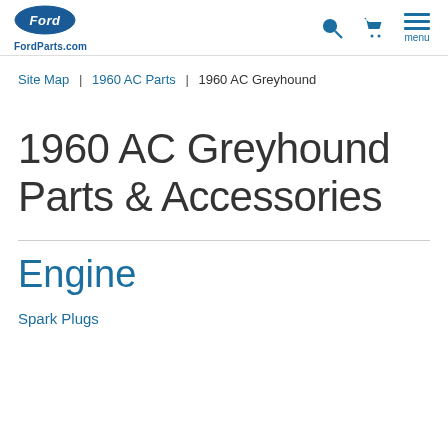FordParts.com
Site Map | 1960 AC Parts | 1960 AC Greyhound
1960 AC Greyhound Parts & Accessories
Engine
Spark Plugs